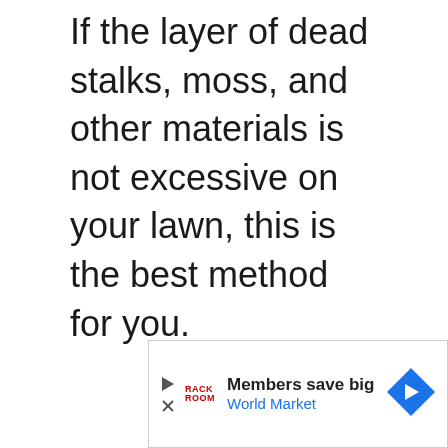If the layer of dead stalks, moss, and other materials is not excessive on your lawn, this is the best method for you.
[Figure (other): Advertisement banner for World Market with play button icon, Rack Room logo, text 'Members save big / World Market', and a blue diamond navigation arrow icon.]